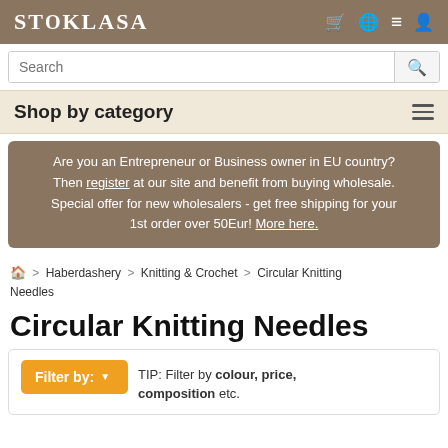STOKLASA
Search
Shop by category
Are you an Entrepreneur or Business owner in EU country? Then register at our site and benefit from buying wholesale. Special offer for new wholesalers - get free shipping for your 1st order over 50Eur! More here.
Home > Haberdashery > Knitting & Crochet > Circular Knitting Needles
Circular Knitting Needles
TIP: Filter by colour, price, composition etc.